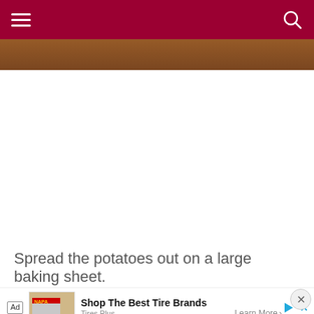Navigation menu and search icon on dark red header bar
[Figure (photo): Partial food/cooking photo visible at the top of the page, brownish tones suggesting roasted potatoes or similar food on a baking surface]
Spread the potatoes out on a large baking sheet.
[Figure (screenshot): Advertisement banner: 'Ad | Shop The Best Tire Brands | Tires Plus | Learn More' with a tire shop building image and play/close controls]
[Figure (photo): Bottom portion of another food photo partially visible, warm pinkish/beige tones]